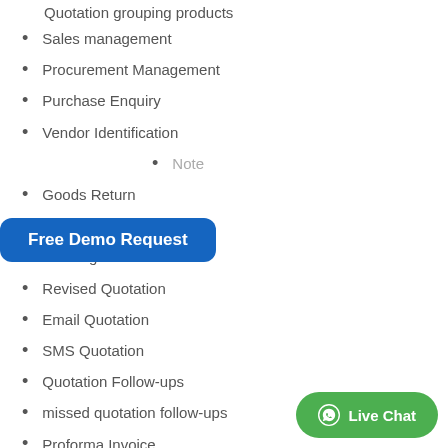Quotation grouping products
Sales management
Procurement Management
Purchase Enquiry
Vendor Identification
[Figure (other): Free Demo Request button overlay (blue rounded rectangle)]
Note (partially obscured)
Goods Return
Purchase Invoice
Pending Purchase
Revised Quotation
Email Quotation
SMS Quotation
Quotation Follow-ups
missed quotation follow-ups
Proforma Invoice
Sales Order
DC
Sales Projections
Sales achievements
Deals management
Task management
Leads management
[Figure (other): Live Chat button (green rounded, WhatsApp icon)]